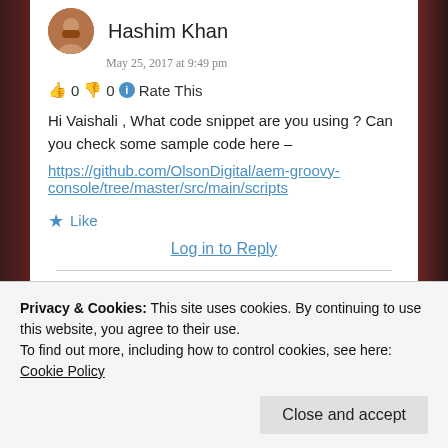Hashim Khan
May 25, 2017 at 9:49 pm
👍 0 👎 0 ℹ Rate This
Hi Vaishali , What code snippet are you using ? Can you check some sample code here – https://github.com/OlsonDigital/aem-groovy-console/tree/master/src/main/scripts
★ Like
Log in to Reply
Vaishali Loganathan
Privacy & Cookies: This site uses cookies. By continuing to use this website, you agree to their use. To find out more, including how to control cookies, see here: Cookie Policy
Close and accept